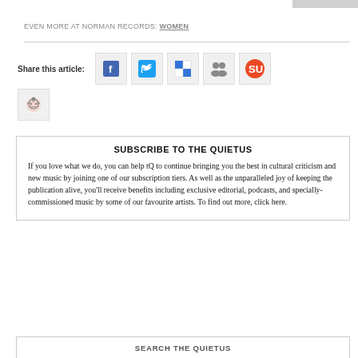EVEN MORE AT NORMAN RECORDS: WOMEN
[Figure (infographic): Social sharing buttons: Facebook, Twitter, Delicious, Google Buzz, StumbleUpon, Reddit]
SUBSCRIBE TO THE QUIETUS
If you love what we do, you can help tQ to continue bringing you the best in cultural criticism and new music by joining one of our subscription tiers. As well as the unparalleled joy of keeping the publication alive, you'll receive benefits including exclusive editorial, podcasts, and specially-commissioned music by some of our favourite artists. To find out more, click here.
SEARCH THE QUIETUS